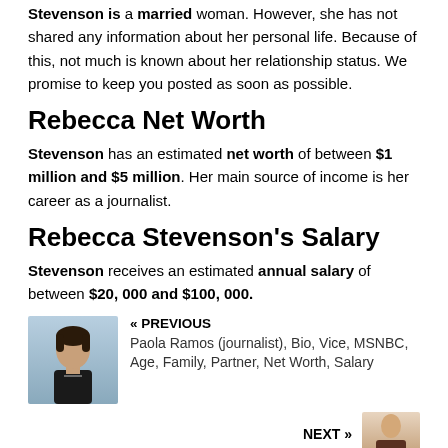Stevenson is a married woman. However, she has not shared any information about her personal life. Because of this, not much is known about her relationship status. We promise to keep you posted as soon as possible.
Rebecca Net Worth
Stevenson has an estimated net worth of between $1 million and $5 million. Her main source of income is her career as a journalist.
Rebecca Stevenson's Salary
Stevenson receives an estimated annual salary of between $20, 000 and $100, 000.
[Figure (photo): Navigation block with photo of Paola Ramos (journalist), a person with short dark hair wearing a black top against a blue background]
« PREVIOUS
Paola Ramos (journalist), Bio, Vice, MSNBC, Age, Family, Partner, Net Worth, Salary
NEXT »